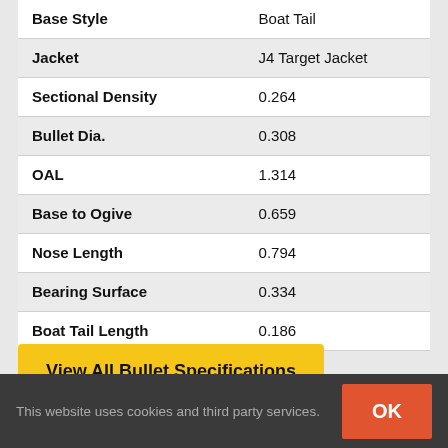| Property | Value |
| --- | --- |
| Base Style | Boat Tail |
| Jacket | J4 Target Jacket |
| Sectional Density | 0.264 |
| Bullet Dia. | 0.308 |
| OAL | 1.314 |
| Base to Ogive | 0.659 |
| Nose Length | 0.794 |
| Bearing Surface | 0.334 |
| Boat Tail Length | 0.186 |
View All Bullet Specifications
This website uses cookies and third party services. OK